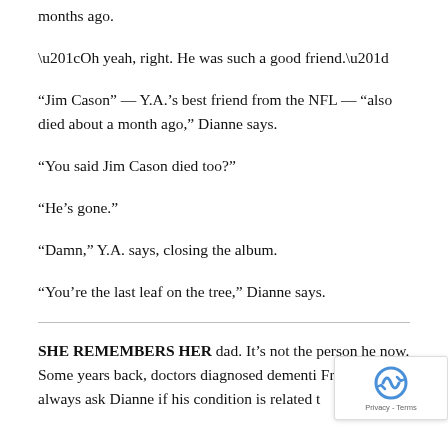months ago.
“Oh yeah, right. He was such a good friend.”
“Jim Cason” — Y.A.’s best friend from the NFL — “also died about a month ago,” Dianne says.
“You said Jim Cason died too?”
“He’s gone.”
“Damn,” Y.A. says, closing the album.
“You’re the last leaf on the tree,” Dianne says.
SHE REMEMBERS HER dad. It’s not the person he now. Some years back, doctors diagnosed dementi Friends always ask Dianne if his condition is related t